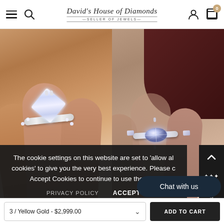David's House of Diamonds — SELLER OF JEWELS
[Figure (photo): Two diamond engagement rings on fingers — left: large cushion-cut solitaire with pave band, right: marquise-cut diamond ring with side stones]
The cookie settings on this website are set to 'allow all cookies' to give you the very best experience. Please Accept Cookies to continue to use the site.
PRIVACY POLICY   ACCEPT
14K Gold Diamond Under...
14K Gold Diamond LB...
$3,499.00
$5,000.00
Chat with us
3 / Yellow Gold - $2,999.00
ADD TO CART